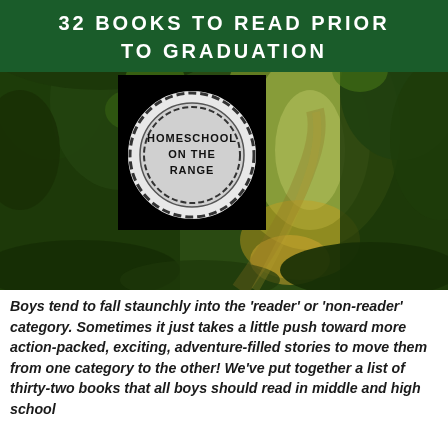[Figure (illustration): Book cover image showing a sunlit forest path with green trees. Contains a dark green banner at top with white bold text '32 BOOKS TO READ PRIOR TO GRADUATION' and a circular logo with text 'HOMESCHOOL ON THE RANGE' overlaid on the left side of the forest photo.]
Boys tend to fall staunchly into the 'reader' or 'non-reader' category.  Sometimes it just takes a little push toward more action-packed, exciting, adventure-filled stories to move them from one category to the other!  We've put together a list of thirty-two books that all boys should read in middle and high school